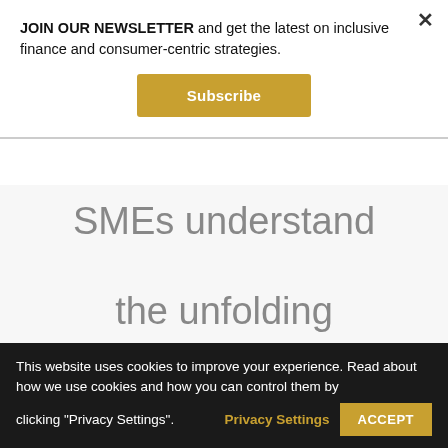JOIN OUR NEWSLETTER and get the latest on inclusive finance and consumer-centric strategies.
Subscribe
SMEs understand the unfolding business environment with
This website uses cookies to improve your experience. Read about how we use cookies and how you can control them by clicking "Privacy Settings".
Privacy Settings
ACCEPT